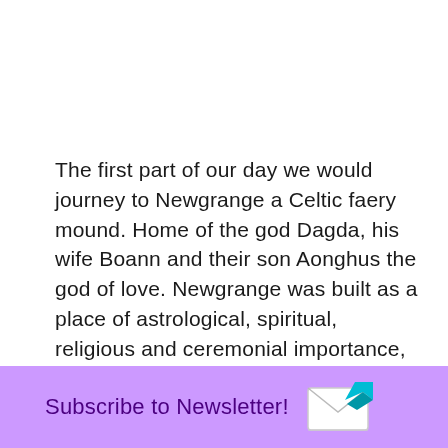The first part of our day we would journey to Newgrange a Celtic faery mound. Home of the god Dagda, his wife Boann and their son Aonghus the god of love. Newgrange was built as a place of astrological, spiritual, religious and ceremonial importance, much as present day cathedrals are places of worship. It was built to honor the winter solstice. We would each enter this place of worship to shed the old ego self.
Subscribe to Newsletter!